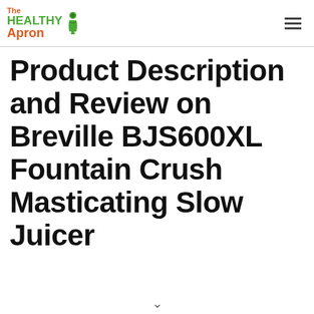The Healthy Apron (logo with navigation hamburger menu)
Product Description and Review on Breville BJS600XL Fountain Crush Masticating Slow Juicer